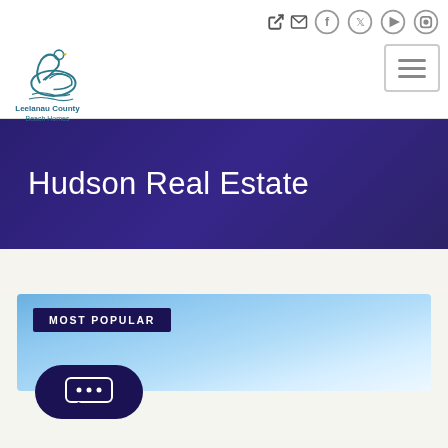[Figure (logo): Leelanau County Beach Homes logo with swan illustration, teal/blue color scheme]
Hudson Real Estate
MOST POPULAR